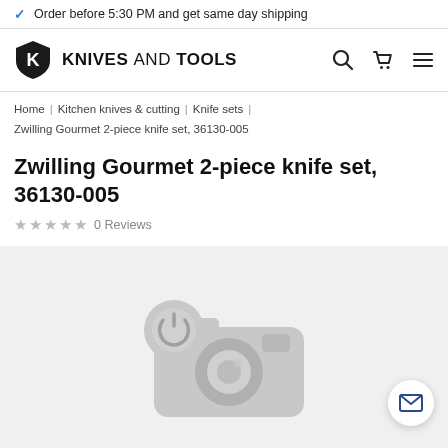Order before 5:30 PM and get same day shipping
[Figure (logo): Knives and Tools brand logo with shield icon]
Home | Kitchen knives & cutting | Knife sets | Zwilling Gourmet 2-piece knife set, 36130-005
Zwilling Gourmet 2-piece knife set, 36130-005
★★★★★ 0 Reviews
[Figure (photo): Product image placeholder showing a camera icon on grey background]